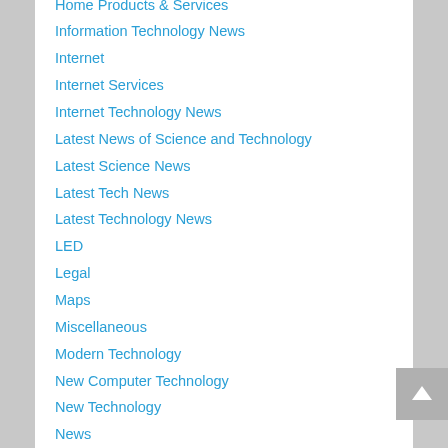Home Products & Services
Information Technology News
Internet
Internet Services
Internet Technology News
Latest News of Science and Technology
Latest Science News
Latest Tech News
Latest Technology News
LED
Legal
Maps
Miscellaneous
Modern Technology
New Computer Technology
New Technology
News
Personal Product & Services
Pets & Animals
RAM
Real Estate
Relationships